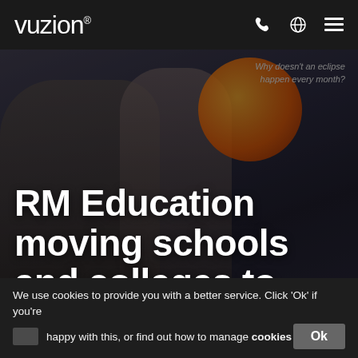vuzion®
[Figure (photo): Dark background photo showing two students standing in a classroom with an orange planet/eclipse projected on screen behind them. Text overlay reads 'Why doesn't an eclipse happen every month?']
RM Education moving schools and colleges to Azure
Jan Hill
We use cookies to provide you with a better service. Click 'Ok' if you're happy with this, or find out how to manage cookies
Ok